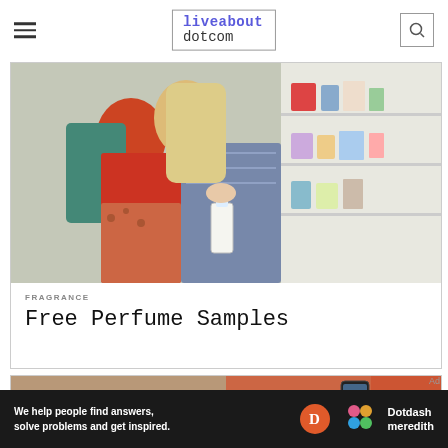liveabout dotcom
[Figure (photo): Two women at a fragrance counter smelling perfume samples, one in red outfit, one with blonde hair in patterned top, product shelves in background]
FRAGRANCE
Free Perfume Samples
[Figure (photo): Person sitting cross-legged holding a mobile phone, wearing patterned clothing on reddish/taupe background]
Ad
We help people find answers, solve problems and get inspired. Dotdash meredith